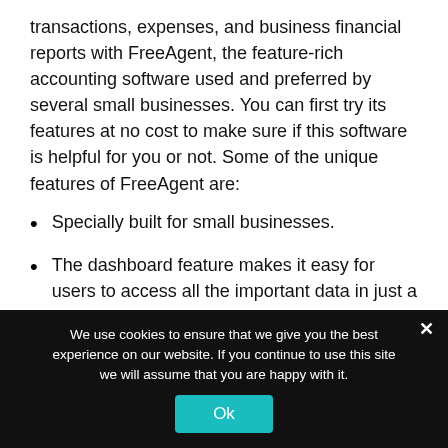transactions, expenses, and business financial reports with FreeAgent, the feature-rich accounting software used and preferred by several small businesses. You can first try its features at no cost to make sure if this software is helpful for you or not. Some of the unique features of FreeAgent are:
Specially built for small businesses.
The dashboard feature makes it easy for users to access all the important data in just a single view.
The app allows you to track expenses that you have made throughout the period.
We use cookies to ensure that we give you the best experience on our website. If you continue to use this site we will assume that you are happy with it.